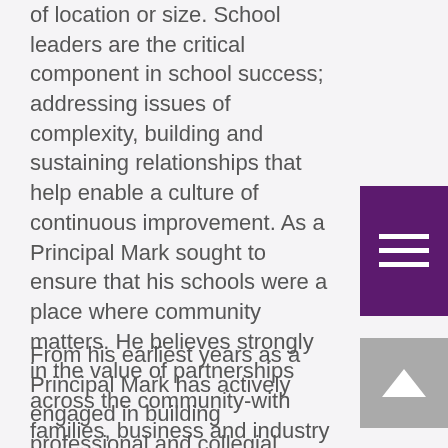of location or size. School leaders are the critical component in school success; addressing issues of complexity, building and sustaining relationships that help enable a culture of continuous improvement. As a Principal Mark sought to ensure that his schools were a place where community matters. He believes strongly in the value of partnerships across the community-with families, business and industry and the wider community.
[Figure (other): Purple square menu button with three horizontal white lines (hamburger menu icon)]
[Figure (other): Gray square scroll-to-top button with white upward chevron arrow]
From his earliest years as a Principal Mark has actively engaged in building professional and collegial networks with his fellow school leaders. These